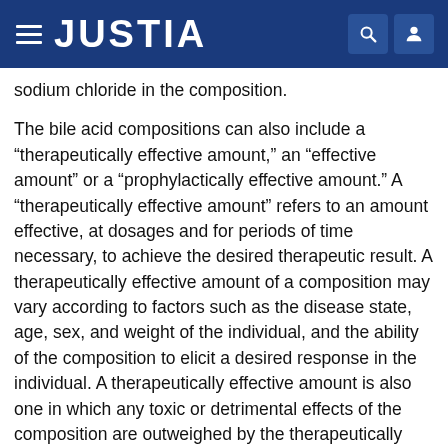JUSTIA
sodium chloride in the composition.
The bile acid compositions can also include a “therapeutically effective amount,” an “effective amount” or a “prophylactically effective amount.” A “therapeutically effective amount” refers to an amount effective, at dosages and for periods of time necessary, to achieve the desired therapeutic result. A therapeutically effective amount of a composition may vary according to factors such as the disease state, age, sex, and weight of the individual, and the ability of the composition to elicit a desired response in the individual. A therapeutically effective amount is also one in which any toxic or detrimental effects of the composition are outweighed by the therapeutically beneficial effects. A “prophylactically effective amount” refers to an amount effective, at dosages and for